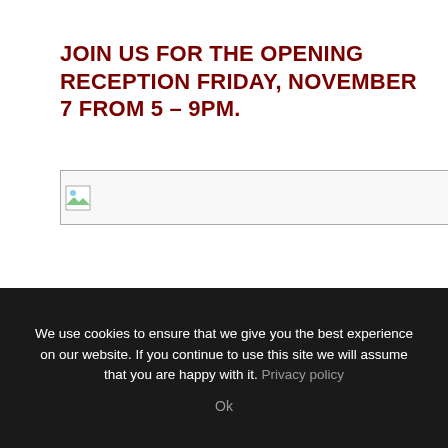JOIN US FOR THE OPENING RECEPTION FRIDAY, NOVEMBER 7 FROM 5 – 9PM.
[Figure (other): Broken/unloaded image placeholder with small image icon in top-left corner, inside a thin bordered rectangle]
We use cookies to ensure that we give you the best experience on our website. If you continue to use this site we will assume that you are happy with it. Privacy policy
Ok